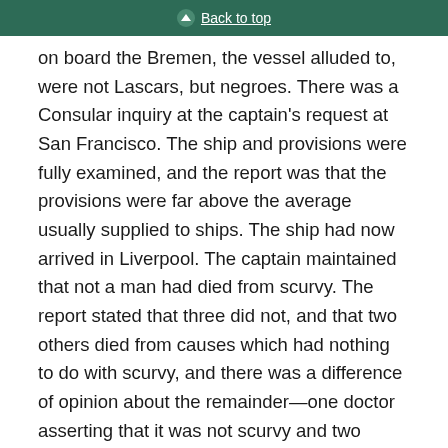Back to top
on board the Bremen, the vessel alluded to, were not Lascars, but negroes. There was a Consular inquiry at the captain's request at San Francisco. The ship and provisions were fully examined, and the report was that the provisions were far above the average usually supplied to ships. The ship had now arrived in Liverpool. The captain maintained that not a man had died from scurvy. The report stated that three did not, and that two others died from causes which had nothing to do with scurvy, and there was a difference of opinion about the remainder—one doctor asserting that it was not scurvy and two others that it was. If the hon. Member for Hastings (Mr. Brassey) or any other hon. Gentleman could show shipowners how to prevent scurvy they would be glad to hear their plan. Since